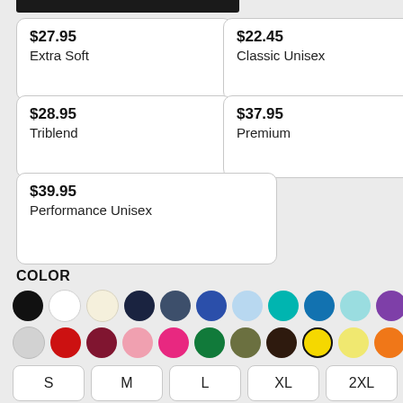$27.95
Extra Soft
$22.45
Classic Unisex
$28.95
Triblend
$37.95
Premium
$39.95
Performance Unisex
COLOR
[Figure (illustration): Color swatches: two rows of colored circles for color selection. Row 1: black, white, cream, dark navy, slate blue, royal blue, light blue, teal, ocean blue, light teal, purple, dark gray, taupe. Row 2: light gray, red, dark red/maroon, pink, hot pink, green, olive, dark brown, yellow (selected/outlined), light yellow, orange.]
S
M
L
XL
2XL